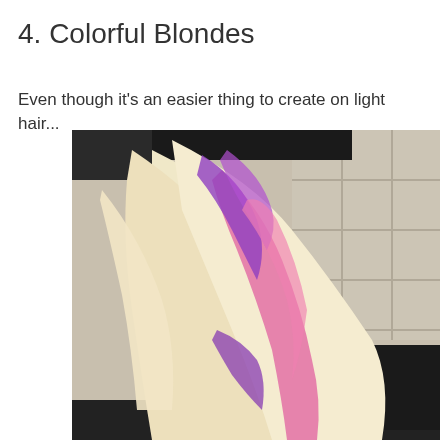4. Colorful Blondes
Even though it's an easier thing to create on light hair...
[Figure (photo): Back view of a person with platinum blonde and pink/purple ombre hair in a salon setting. The hair has vivid pink and purple highlights swept to the side. A 'bumble and bumble' salon sign is visible in the background.]